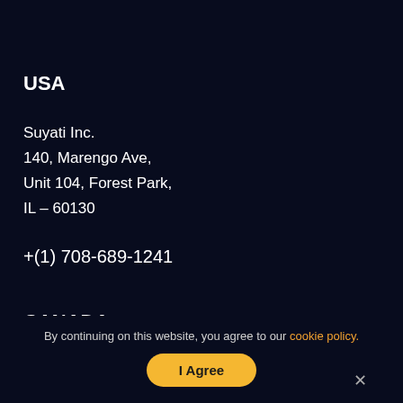USA
Suyati Inc.
140, Marengo Ave,
Unit 104, Forest Park,
IL – 60130
+(1) 708-689-1241
CANADA
By continuing on this website, you agree to our cookie policy.
I Agree